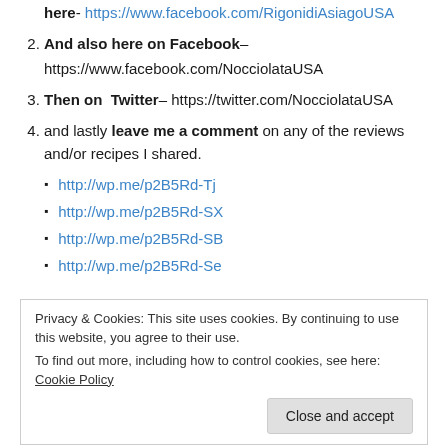here- https://www.facebook.com/RigonidiAsiagoUSA
And also here on Facebook– https://www.facebook.com/NocciolataUSA
Then on Twitter– https://twitter.com/NocciolataUSA
and lastly leave me a comment on any of the reviews and/or recipes I shared.
http://wp.me/p2B5Rd-Tj
http://wp.me/p2B5Rd-SX
http://wp.me/p2B5Rd-SB
http://wp.me/p2B5Rd-Se
Privacy & Cookies: This site uses cookies. By continuing to use this website, you agree to their use. To find out more, including how to control cookies, see here: Cookie Policy